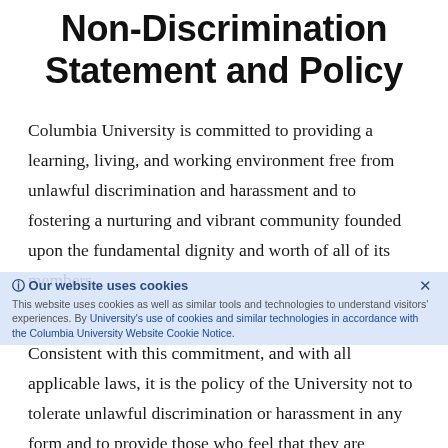Non-Discrimination Statement and Policy
Columbia University is committed to providing a learning, living, and working environment free from unlawful discrimination and harassment and to fostering a nurturing and vibrant community founded upon the fundamental dignity and worth of all of its members.
Consistent with this commitment, and with all applicable laws, it is the policy of the University not to tolerate unlawful discrimination or harassment in any form and to provide those who feel that they are victims of discrimination with a choice of remedies...